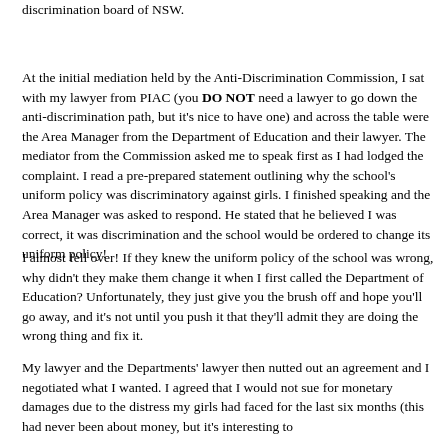discrimination board of NSW.
At the initial mediation held by the Anti-Discrimination Commission, I sat with my lawyer from PIAC (you DO NOT need a lawyer to go down the anti-discrimination path, but it's nice to have one) and across the table were the Area Manager from the Department of Education and their lawyer. The mediator from the Commission asked me to speak first as I had lodged the complaint. I read a pre-prepared statement outlining why the school's uniform policy was discriminatory against girls. I finished speaking and the Area Manager was asked to respond. He stated that he believed I was correct, it was discrimination and the school would be ordered to change its uniform policy!
I almost fell over! If they knew the uniform policy of the school was wrong, why didn't they make them change it when I first called the Department of Education? Unfortunately, they just give you the brush off and hope you'll go away, and it's not until you push it that they'll admit they are doing the wrong thing and fix it.
My lawyer and the Departments' lawyer then nutted out an agreement and I negotiated what I wanted. I agreed that I would not sue for monetary damages due to the distress my girls had faced for the last six months (this had never been about money, but it's interesting to